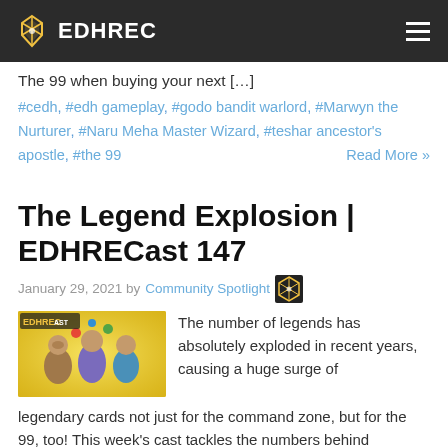EDHREC
The 99 when buying your next […]
#cedh, #edh gameplay, #godo bandit warlord, #Marwyn the Nurturer, #Naru Meha Master Wizard, #teshar ancestor's apostle, #the 99   Read More »
The Legend Explosion | EDHRECast 147
January 29, 2021 by Community Spotlight
[Figure (illustration): EDHRECast podcast thumbnail showing cartoon characters with the text EDHREC AST on a yellow background]
The number of legends has absolutely exploded in recent years, causing a huge surge of legendary cards not just for the command zone, but for the 99, too! This week's cast tackles the numbers behind